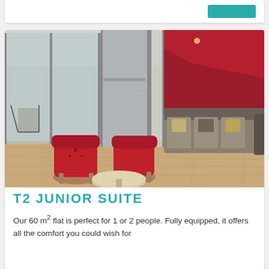[Figure (photo): Interior photo of a T2 Junior Suite showing two red armchairs, a round coffee table, a grey sofa with cushions against a deep red accent wall, hardwood floors, and large glass sliding doors leading to a balcony.]
T2 JUNIOR SUITE
Our 60 m² flat is perfect for 1 or 2 people. Fully equipped, it offers all the comfort you could wish for